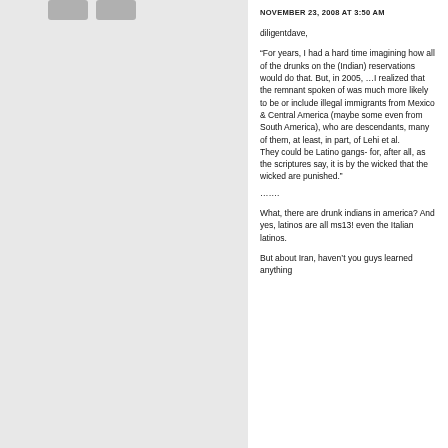NOVEMBER 23, 2008 AT 3:50 AM
diligentdave,
“For years, I had a hard time imagining how all of the drunks on the (Indian) reservations would do that. But, in 2005, …I realized that the remnant spoken of was much more likely to be or include illegal immigrants from Mexico & Central America (maybe some even from South America), who are descendants, many of them, at least, in part, of Lehi et al.
They could be Latino gangs- for, after all, as the scriptures say, it is by the wicked that the wicked are punished.”
…….
What, there are drunk indians in america? And yes, latinos are all ms13! even the Italian latinos.
But about Iran, haven’t you guys learned anything